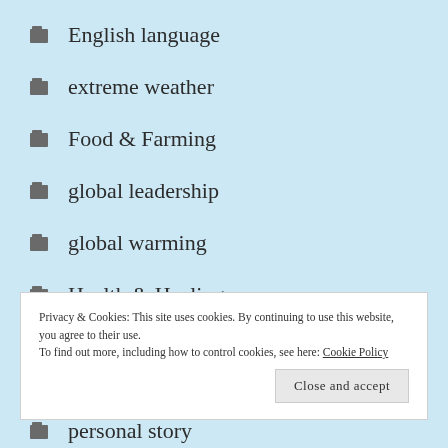English language
extreme weather
Food & Farming
global leadership
global warming
Health & Healing
Privacy & Cookies: This site uses cookies. By continuing to use this website, you agree to their use.
To find out more, including how to control cookies, see here: Cookie Policy
personal story